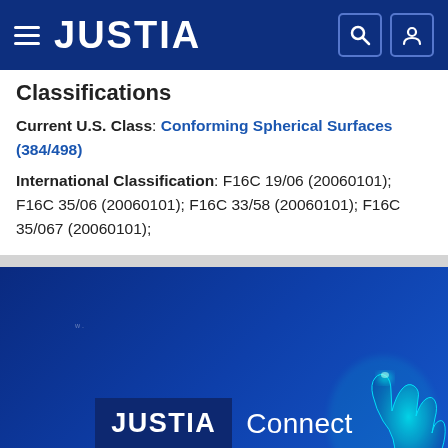JUSTIA
Classifications
Current U.S. Class: Conforming Spherical Surfaces (384/498)
International Classification: F16C 19/06 (20060101); F16C 35/06 (20060101); F16C 33/58 (20060101); F16C 35/067 (20060101);
[Figure (screenshot): JUSTIA Connect promotional banner with blue background and glowing hand/finger illustration]